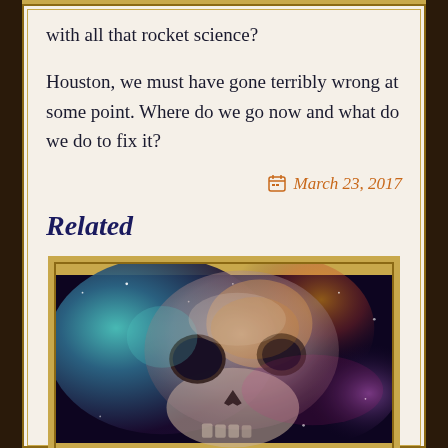with all that rocket science?
Houston, we must have gone terribly wrong at some point. Where do we go now and what do we do to fix it?
March 23, 2017
Related
[Figure (illustration): Colorful cosmic illustration of a human skull overlaid on a nebula/galaxy background with purple, teal, orange, and pink hues]